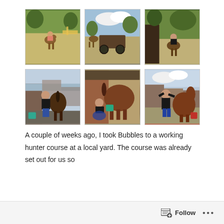[Figure (photo): Grid of 6 photos showing a person riding and grooming a horse at a stable yard. Top row: rider on horse in sandy arena, horse and cart in yard, rider on horse facing camera on gravel. Bottom row: person standing behind brown horse, person washing/grooming brown horse with teal bucket, person grooming/brushing tall brown horse from behind.]
A couple of weeks ago, I took Bubbles to a working hunter course at a local yard. The course was already set out for us so
Follow ...